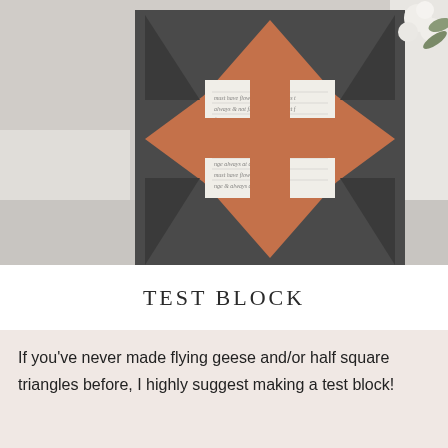[Figure (photo): A quilt block displayed on a stand or chair. The quilt block features a dark charcoal/grey background with terracotta/rust colored flying geese triangles and a central white fabric with cursive script print, overlaid with a terracotta plus/cross shape. White flowers and greenery visible in the upper right background.]
TEST BLOCK
If you've never made flying geese and/or half square triangles before, I highly suggest making a test block! You'll like how to figure out the sitting sitting details that